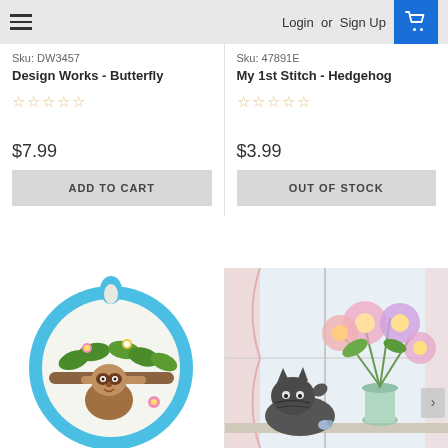Login or Sign Up
Sku: DW3457
Design Works - Butterfly
$7.99
ADD TO CART
Sku: 47891E
My 1st Stitch - Hedgehog
$3.99
OUT OF STOCK
[Figure (photo): Cross-stitch sloth on branch with flowers in a blue circular embroidery hoop]
[Figure (photo): Cross-stitch or painted scene of a cat with a vase of colorful flowers by a window]